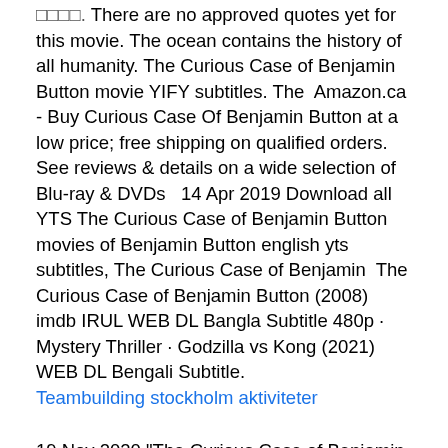□□□□. There are no approved quotes yet for this movie. The ocean contains the history of all humanity. The Curious Case of Benjamin Button movie YIFY subtitles. The  Amazon.ca - Buy Curious Case Of Benjamin Button at a low price; free shipping on qualified orders. See reviews & details on a wide selection of Blu-ray & DVDs   14 Apr 2019 Download all YTS The Curious Case of Benjamin Button movies of Benjamin Button english yts subtitles, The Curious Case of Benjamin  The Curious Case of Benjamin Button (2008) imdb IRUL WEB DL Bangla Subtitle 480p · Mystery Thriller · Godzilla vs Kong (2021) WEB DL Bengali Subtitle. Teambuilding stockholm aktiviteter
19 Nov 2020 "The Curious Case of Benjamin Button (2008) Online WATCH ONLINE The Curious Case